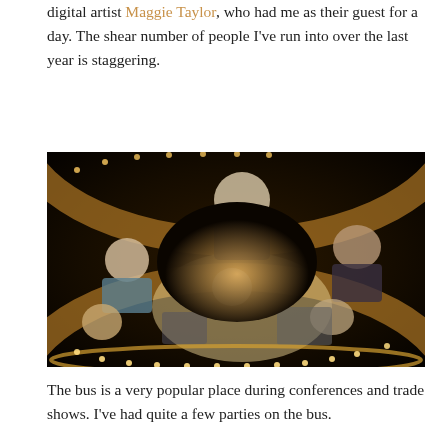digital artist Maggie Taylor, who had me as their guest for a day. The shear number of people I've run into over the last year is staggering.
[Figure (photo): A group of people photographed from above inside what appears to be a dimly lit bus or vehicle interior with warm amber/golden lighting around the edges. Several people are looking up at the camera.]
The bus is a very popular place during conferences and trade shows. I've had quite a few parties on the bus.